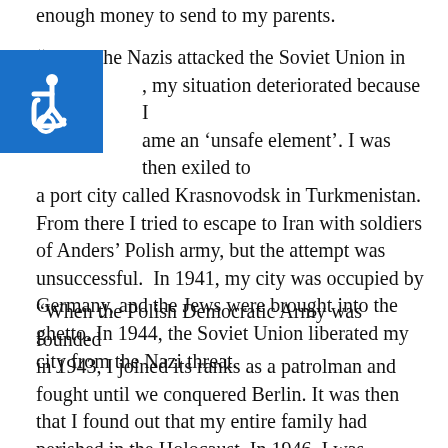enough money to send to my parents.
“When the Nazis attacked the Soviet Union in [1941], my situation deteriorated because I became an ‘unsafe element’. I was then exiled to a port city called Krasnovodsk in Turkmenistan. From there I tried to escape to Iran with soldiers of Anders’ Polish army, but the attempt was unsuccessful. In 1941, my city was occupied by Germany, and the Jews were brought into the ghetto. In 1944, the Soviet Union liberated my city from the Nazi threat.
[Figure (illustration): Accessibility wheelchair icon in a blue square, overlapping with the text block on the left side.]
“When the Polish Democratic Army was founded in 1943, I joined its ranks as a patrolman and fought until we conquered Berlin. It was then that I found out that my entire family had perished in the Holocaust. In 1946, I was discharged from the army and joined the Hashomer Hatzair movement and its re-